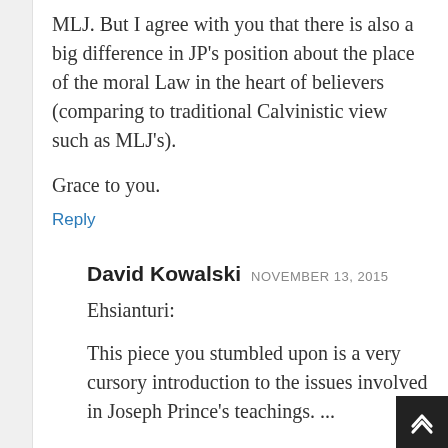MLJ. But I agree with you that there is also a big difference in JP's position about the place of the moral Law in the heart of believers (comparing to traditional Calvinistic view such as MLJ's).
Grace to you.
Reply
David Kowalski NOVEMBER 13, 2015
Ehsianturi:
This piece you stumbled upon is a very cursory introduction to the issues involved in Joseph Prince's teachings. ...